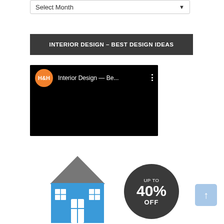[Figure (screenshot): Select Month dropdown box with down arrow]
INTERIOR DESIGN – BEST DESIGN IDEAS
[Figure (screenshot): YouTube-style video thumbnail with H&H orange circle logo, title 'Interior Design — Be...' and three-dot menu on black background]
[Figure (infographic): House icon in blue and grey with 'UP TO 40% OFF' dark circle badge and light blue up-arrow button]